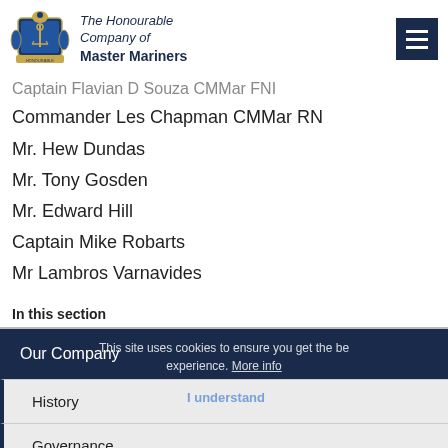The Honourable Company of Master Mariners
Captain Flavian D Souza CMMar FNI
Commander Les Chapman CMMar RN
Mr. Hew Dundas
Mr. Tony Gosden
Mr. Edward Hill
Captain Mike Robarts
Mr Lambros Varnavides
In this section
Our Company
History
Governance